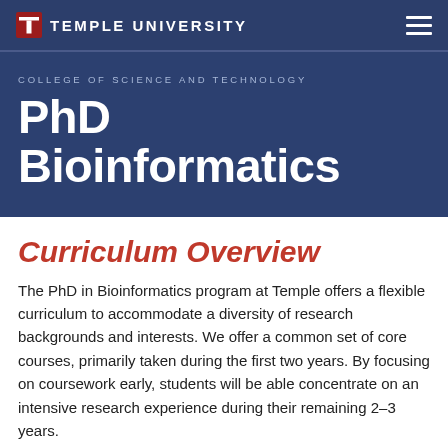TEMPLE UNIVERSITY
COLLEGE OF SCIENCE AND TECHNOLOGY
PhD Bioinformatics
Curriculum Overview
The PhD in Bioinformatics program at Temple offers a flexible curriculum to accommodate a diversity of research backgrounds and interests. We offer a common set of core courses, primarily taken during the first two years. By focusing on coursework early, students will be able concentrate on an intensive research experience during their remaining 2–3 years.